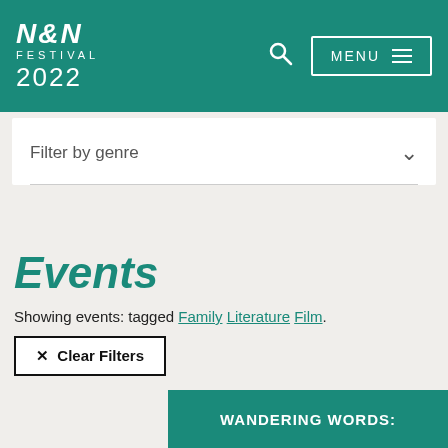N&N FESTIVAL 2022
Filter by genre
Events
Showing events: tagged Family Literature Film.
✕  Clear Filters
WANDERING WORDS: